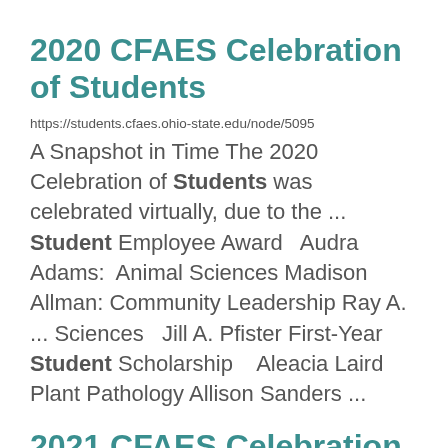2020 CFAES Celebration of Students
https://students.cfaes.ohio-state.edu/node/5095
A Snapshot in Time The 2020 Celebration of Students was celebrated virtually, due to the ... Student Employee Award   Audra Adams:  Animal Sciences Madison Allman:  Community Leadership Ray A. ... Sciences   Jill A. Pfister First-Year Student Scholarship    Aleacia Laird Plant Pathology Allison Sanders ...
2021 CFAES Celebration of